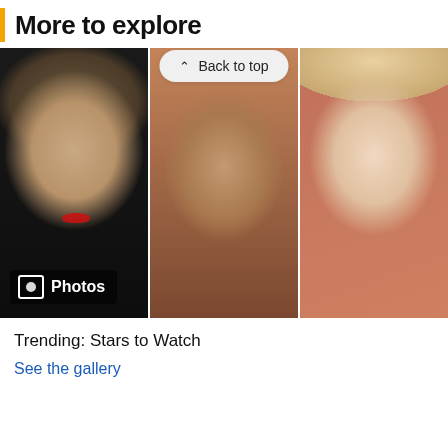More to explore
Back to top
[Figure (photo): A gallery strip of three celebrity portrait photos. Left: a young woman with a short buzz cut, dramatic earrings, and red lips against a dark background. Center: a man with dark curly hair and sunglasses against a warm brown background. Right: a blonde woman with long straight hair against a warm reddish background. A 'Photos' badge overlays the bottom-left corner.]
Trending: Stars to Watch
See the gallery